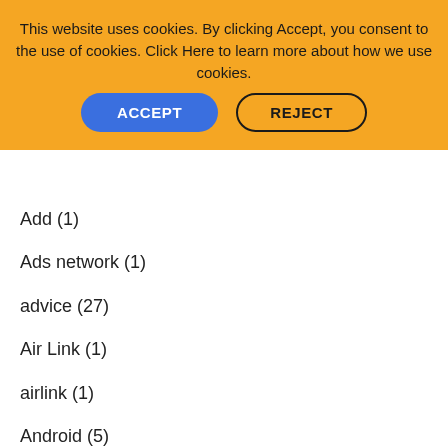This website uses cookies. By clicking Accept, you consent to the use of cookies. Click Here to learn more about how we use cookies.
Add (1)
Ads network (1)
advice (27)
Air Link (1)
airlink (1)
Android (5)
Announcement (1)
apk (1)
Apk file (1)